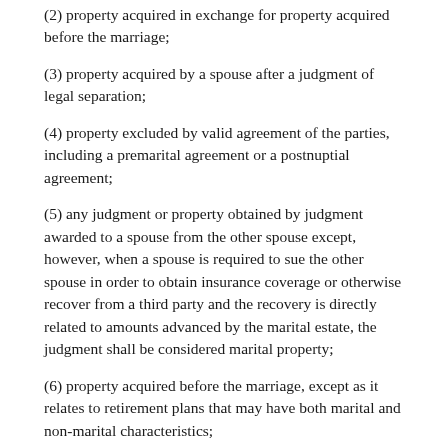(2) property acquired in exchange for property acquired before the marriage;
(3) property acquired by a spouse after a judgment of legal separation;
(4) property excluded by valid agreement of the parties, including a premarital agreement or a postnuptial agreement;
(5) any judgment or property obtained by judgment awarded to a spouse from the other spouse except, however, when a spouse is required to sue the other spouse in order to obtain insurance coverage or otherwise recover from a third party and the recovery is directly related to amounts advanced by the marital estate, the judgment shall be considered marital property;
(6) property acquired before the marriage, except as it relates to retirement plans that may have both marital and non-marital characteristics;